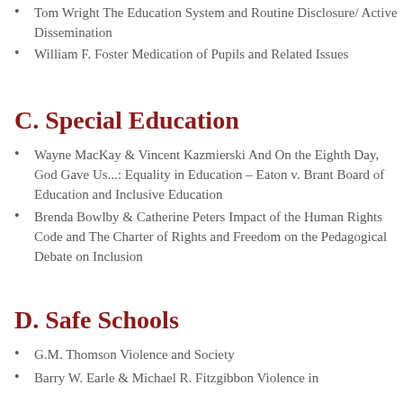Tom Wright The Education System and Routine Disclosure/ Active Dissemination
William F. Foster Medication of Pupils and Related Issues
C. Special Education
Wayne MacKay & Vincent Kazmierski And On the Eighth Day, God Gave Us...: Equality in Education – Eaton v. Brant Board of Education and Inclusive Education
Brenda Bowlby & Catherine Peters Impact of the Human Rights Code and The Charter of Rights and Freedom on the Pedagogical Debate on Inclusion
D. Safe Schools
G.M. Thomson Violence and Society
Barry W. Earle & Michael R. Fitzgibbon Violence in